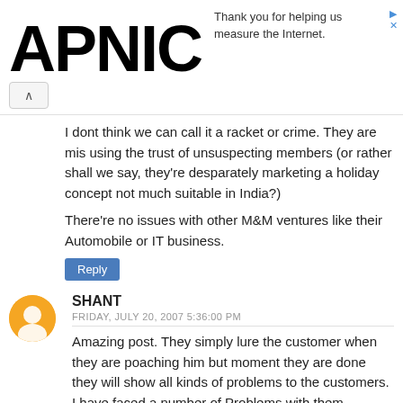APNIC
Thank you for helping us measure the Internet.
I dont think we can call it a racket or crime. They are mis using the trust of unsuspecting members (or rather shall we say, they're desparately marketing a holiday concept not much suitable in India?)
There're no issues with other M&M ventures like their Automobile or IT business.
Reply
SHANT
FRIDAY, JULY 20, 2007 5:36:00 PM
Amazing post. They simply lure the customer when they are poaching him but moment they are done they will show all kinds of problems to the customers. I have faced a number of Problems with them
1. My free two weeks with them were not granted.
2. They had promised that the last two installments